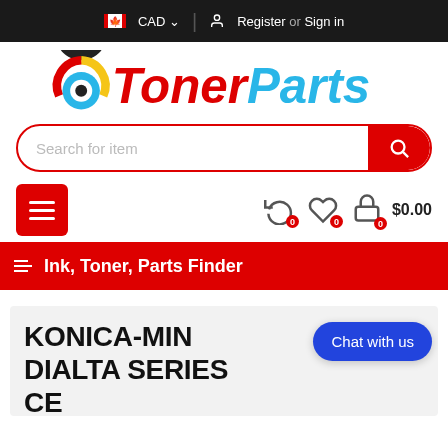CAD  |  Register or Sign in
[Figure (logo): TonerParts logo with circular toner cartridge icon in black, yellow, red, cyan colors and 'TonerParts' text in red and cyan]
Search for item
≡  0  ♡  0  🛒  0  $0.00
☰ Ink, Toner, Parts Finder
KONICA-MINOLTA DIALTA SERIES CE